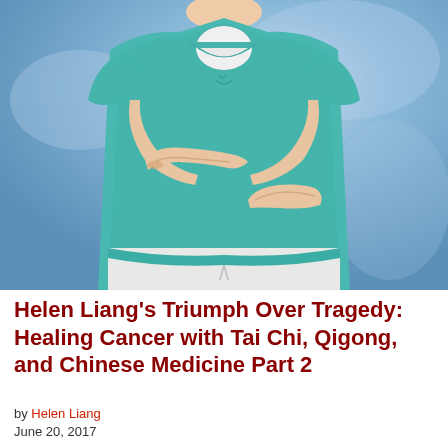[Figure (photo): A person wearing a teal/turquoise t-shirt and white pants, shown from neck to thighs, holding their hands in a tai chi or qigong pose against a blue background.]
Helen Liang's Triumph Over Tragedy: Healing Cancer with Tai Chi, Qigong, and Chinese Medicine Part 2
by Helen Liang
June 20, 2017